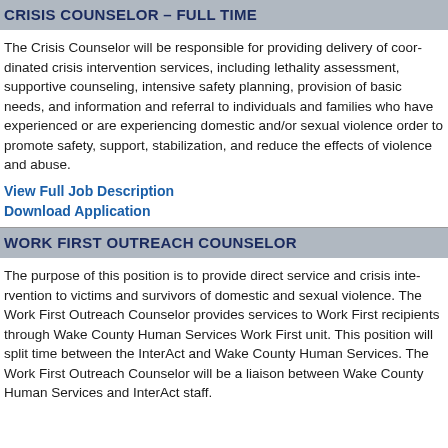CRISIS COUNSELOR – FULL TIME
The Crisis Counselor will be responsible for providing delivery of coordinated crisis intervention services, including lethality assessment, supportive counseling, intensive safety planning, provision of basic needs, and information and referral to individuals and families who have experienced or are experiencing domestic and/or sexual violence order to promote safety, support, stabilization, and reduce the effects of violence and abuse.
View Full Job Description
Download Application
WORK FIRST OUTREACH COUNSELOR
The purpose of this position is to provide direct service and crisis intervention to victims and survivors of domestic and sexual violence. The Work First Outreach Counselor provides services to Work First recipients through Wake County Human Services Work First unit. This position will split time between the InterAct and Wake County Human Services. The Work First Outreach Counselor will be a liaison between Wake County Human Services and InterAct staff.